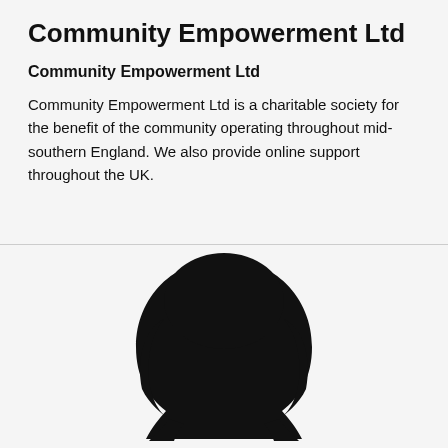Community Empowerment Ltd
Community Empowerment Ltd
Community Empowerment Ltd is a charitable society for the benefit of the community operating throughout mid-southern England. We also provide online support throughout the UK.
[Figure (illustration): Black silhouette of a person's head and hair, representing an anonymous individual profile image]